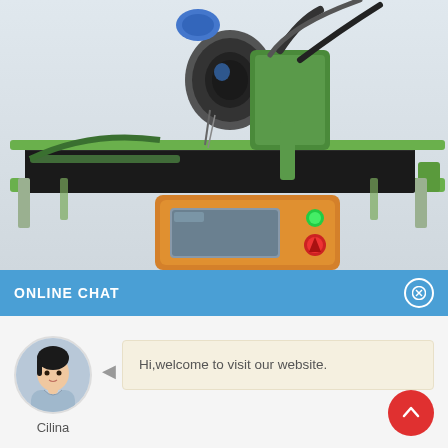[Figure (photo): Industrial labeling/printing machine with green metal frame, black conveyor belt surface, orange control unit base with touchscreen display, green and red indicator buttons, and a printing head mechanism mounted on top.]
ONLINE CHAT
[Figure (photo): Avatar photo of a woman named Cilina wearing a light blue shirt, with short dark hair.]
Hi,welcome to visit our website.